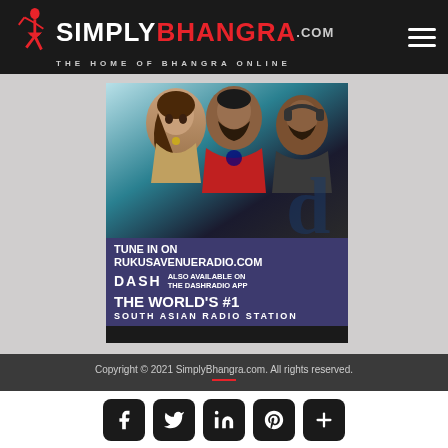[Figure (logo): Simply Bhangra .com logo with dancer silhouette and tagline 'THE HOME OF BHANGRA ONLINE' on black header background, with hamburger menu icon on the right]
[Figure (photo): Advertisement image for Rukus Avenue Radio showing three people (a woman and two men) with text: TUNE IN ON RUKUSAVENUERADIO.COM, DASH logo, ALSO AVAILABLE ON THE DASHRADIO APP, THE WORLD'S #1 SOUTH ASIAN RADIO STATION]
Copyright © 2021 SimplyBhangra.com. All rights reserved.
[Figure (infographic): Social media share buttons: Facebook, Twitter, LinkedIn, Pinterest, and a plus/more button, displayed as dark rounded square icons]